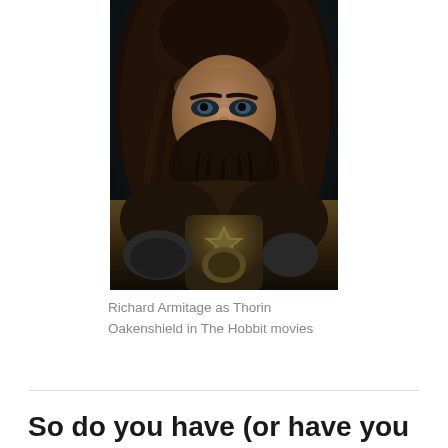[Figure (photo): Richard Armitage as Thorin Oakenshield in The Hobbit movies — a dwarf character with long dark wavy hair, braids, a full dark beard, intense eyes, wearing ornate dark armor and fur cloak, photographed against a dark background.]
Richard Armitage as Thorin Oakenshield in The Hobbit movies
So do you have (or have you ever had)